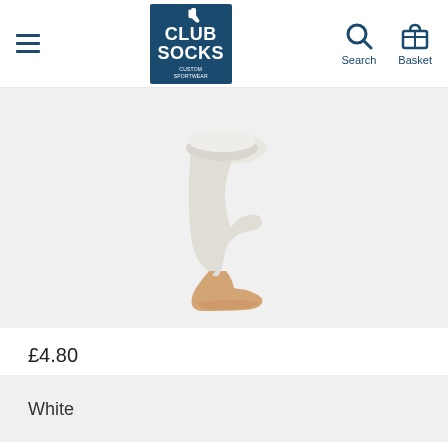Club Socks — Custom Sportwear | Search | Basket
[Figure (photo): White football/sports sock on a mannequin foot, shown on a light grey background. The sock is white with a ribbed texture, and the mannequin foot is peach/skin-toned.]
£4.80
White